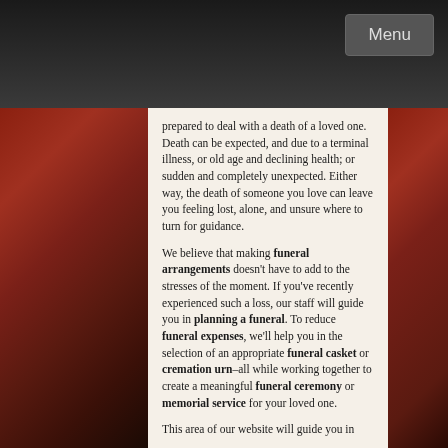Menu
prepared to deal with a death of a loved one. Death can be expected, and due to a terminal illness, or old age and declining health; or sudden and completely unexpected. Either way, the death of someone you love can leave you feeling lost, alone, and unsure where to turn for guidance.
We believe that making funeral arrangements doesn't have to add to the stresses of the moment. If you've recently experienced such a loss, our staff will guide you in planning a funeral. To reduce funeral expenses, we'll help you in the selection of an appropriate funeral casket or cremation urn–all while working together to create a meaningful funeral ceremony or memorial service for your loved one.
This area of our website will guide you in